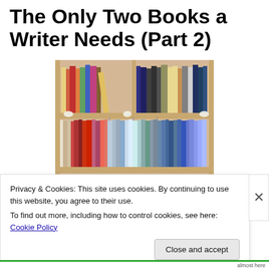The Only Two Books a Writer Needs (Part 2)
[Figure (photo): A wooden bookshelf with three shelves packed with books of various colors and sizes. A small Tigger figurine sits on the bottom shelf.]
Privacy & Cookies: This site uses cookies. By continuing to use this website, you agree to their use.
To find out more, including how to control cookies, see here: Cookie Policy
Close and accept